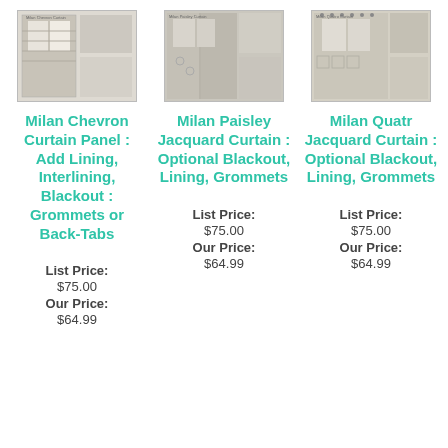[Figure (photo): Milan Chevron Curtain product image thumbnail]
Milan Chevron Curtain Panel : Add Lining, Interlining, Blackout : Grommets or Back-Tabs
List Price: $75.00 Our Price: $64.99
[Figure (photo): Milan Paisley Curtain product image thumbnail]
Milan Paisley Jacquard Curtain : Optional Blackout, Lining, Grommets
List Price: $75.00 Our Price: $64.99
[Figure (photo): Milan Quatro Curtain product image thumbnail]
Milan Quatr Jacquard Curtain : Optional Blackout, Lining, Grommets
List Price: $75.00 Our Price: $64.99